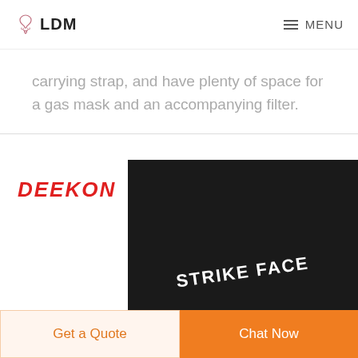LDM  MENU
carrying strap, and have plenty of space for a gas mask and an accompanying filter.
[Figure (photo): DEEKON branded ballistic plate with 'STRIKE FACE' text printed on black surface]
Get a Quote
Chat Now